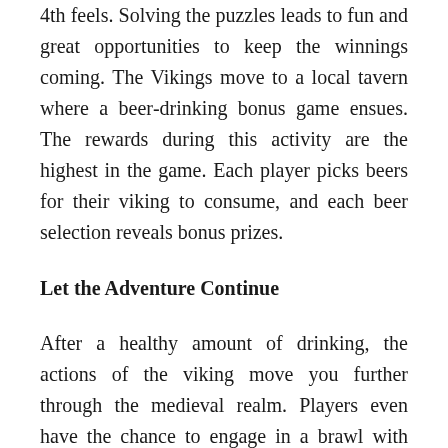4th feels. Solving the puzzles leads to fun and great opportunities to keep the winnings coming. The Vikings move to a local tavern where a beer-drinking bonus game ensues. The rewards during this activity are the highest in the game. Each player picks beers for their viking to consume, and each beer selection reveals bonus prizes.
Let the Adventure Continue
After a healthy amount of drinking, the actions of the viking move you further through the medieval realm. Players even have the chance to engage in a brawl with other drinking vikings in the tavern. The outcome of the fight can easily lead to more winnings. Winning the